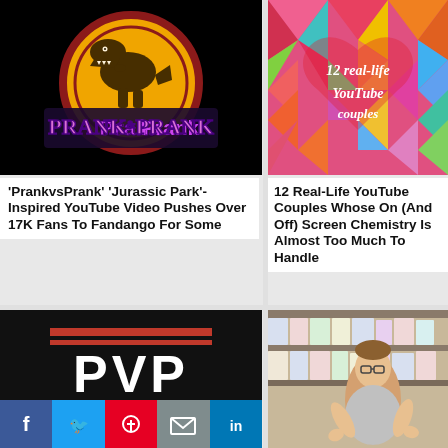[Figure (illustration): PrankvsPrank YouTube channel logo styled like Jurassic Park logo with dinosaur silhouette and 'Prank & Prank' text on black background]
[Figure (illustration): Colorful geometric low-poly heart background with white cursive text reading '12 real-life YouTube couples']
'PrankvsPrank' 'Jurassic Park'-Inspired YouTube Video Pushes Over 17K Fans To Fandango For Some
12 Real-Life YouTube Couples Whose On (And Off) Screen Chemistry Is Almost Too Much To Handle
[Figure (illustration): Black background with red horizontal bars and large white bold text reading 'PVP FTW']
[Figure (photo): Young man gesturing in a store aisle with shelving and products in background]